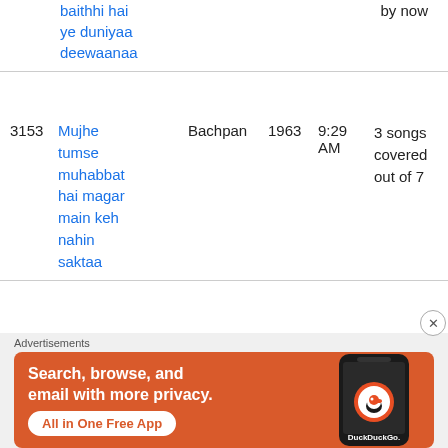| # | Song | Album | Year | Time | Coverage |
| --- | --- | --- | --- | --- | --- |
|  | baithhi hai ye duniyaa deewaanaa |  |  |  | by now |
| 3153 | Mujhe tumse muhabbat hai magar main keh nahin saktaa | Bachpan | 1963 | 9:29 AM | 3 songs covered out of 7 |
[Figure (screenshot): DuckDuckGo advertisement banner: orange background with text 'Search, browse, and email with more privacy. All in One Free App' and a phone graphic with DuckDuckGo logo.]